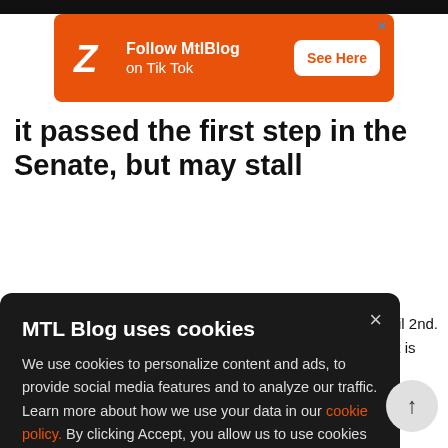[Figure (screenshot): MTL Blog advertisement banner: orange background with white Z logo, 'Follow MtlBlog on Tik Tok' text, and 'See Here' button]
It passed the first step in the Senate, but may stall
ril 2nd. it is
MTL Blog uses cookies
We use cookies to personalize content and ads, to provide social media features and to analyze our traffic. Learn more about how we use your data in our cookie policy. By clicking Accept, you allow us to use cookies to give you the best experience on site.
Accept